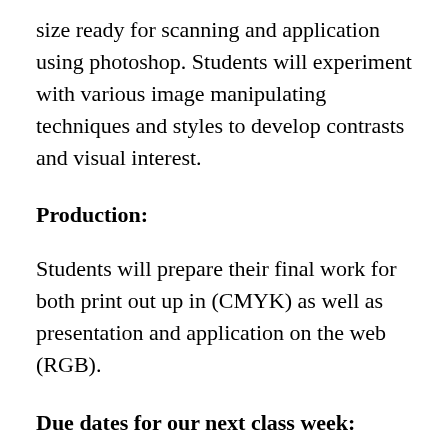size ready for scanning and application using photoshop. Students will experiment with various image manipulating techniques and styles to develop contrasts and visual interest.
Production:
Students will prepare their final work for both print out up in (CMYK) as well as presentation and application on the web (RGB).
Due dates for our next class week:
What images will you be referencing and using? Where did you find them? Are they free to use, if so, how do you know? Please bring all of your